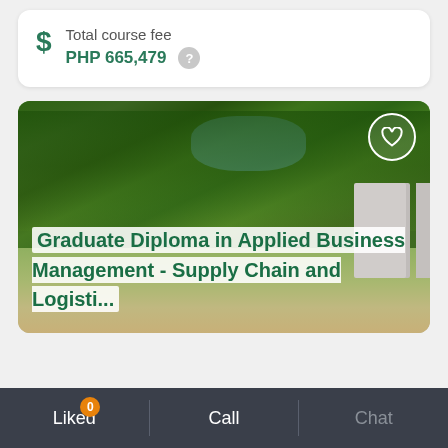Total course fee
PHP 665,479
[Figure (photo): A lush university campus with green trees, a pathway, bicycle in foreground, and a building on the right side.]
Graduate Diploma in Applied Business Management - Supply Chain and Logisti...
Liked 0 | Call | Chat